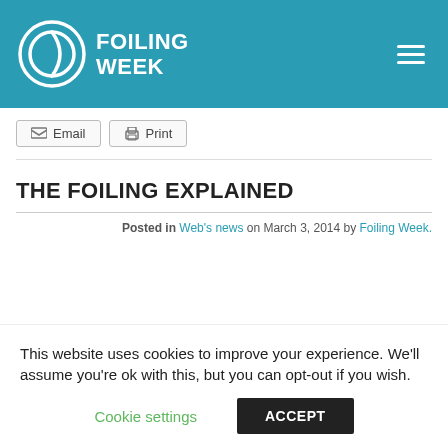FOILING WEEK
Email  Print
THE FOILING EXPLAINED
Posted in Web's news on March 3, 2014 by Foiling Week.
This website uses cookies to improve your experience. We'll assume you're ok with this, but you can opt-out if you wish.
Cookie settings  ACCEPT